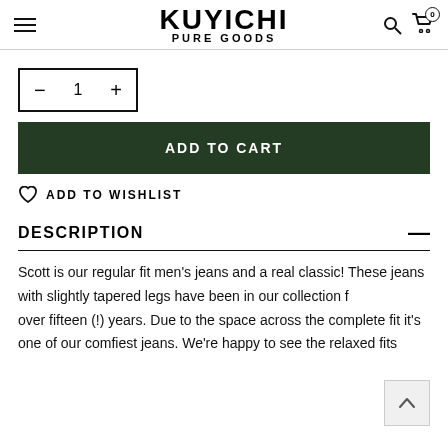KUYICHI PURE GOODS
— 1 +
ADD TO CART
ADD TO WISHLIST
DESCRIPTION
Scott is our regular fit men's jeans and a real classic! These jeans with slightly tapered legs have been in our collection for over fifteen (!) years. Due to the space across the complete fit it's one of our comfiest jeans. We're happy to see the relaxed fits